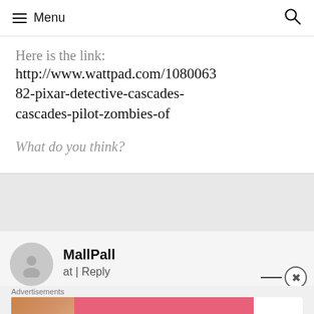Menu
Here is the link:
http://www.wattpad.com/108006382-pixar-detective-cascades-cascades-pilot-zombies-of
What do you think?
MallPall
at | Reply
[Figure (photo): Victoria's Secret advertisement banner with model, logo, SHOP THE COLLECTION text, and SHOP NOW button]
Advertisements